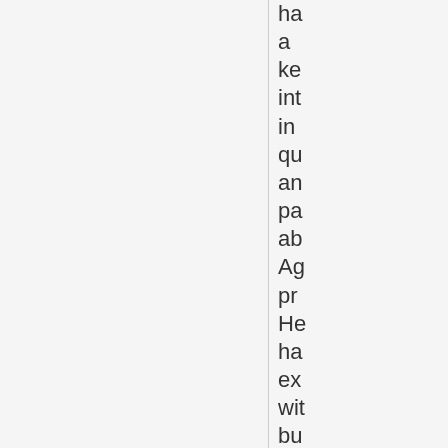ha
a
ke
int
in
qu
an
pa
ab
Ag
pr
He
ha
ex
wit
bu
se
fro
se
co